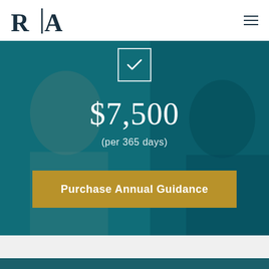[Figure (logo): R|A logo with vertical divider line between R and A, dark navy text]
[Figure (photo): Hero section with teal overlay showing two people in a meeting/consultation setting, woman laughing, man across from her. Contains a checkbox icon, price $7,500 (per 365 days), and a gold Purchase Annual Guidance button.]
$7,500
(per 365 days)
Purchase Annual Guidance